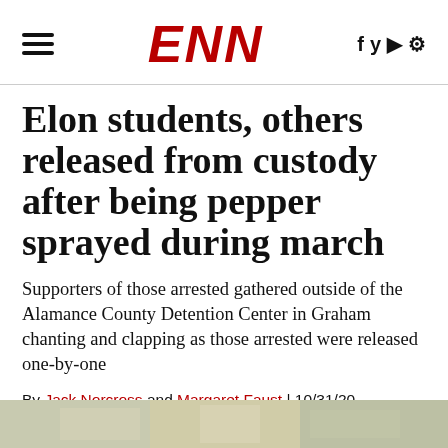ENN
Elon students, others released from custody after being pepper sprayed during march
Supporters of those arrested gathered outside of the Alamance County Detention Center in Graham chanting and clapping as those arrested were released one-by-one
By Jack Norcross and Margaret Faust | 10/31/20 8:33pm
[Figure (photo): Partial photo strip at bottom of page]